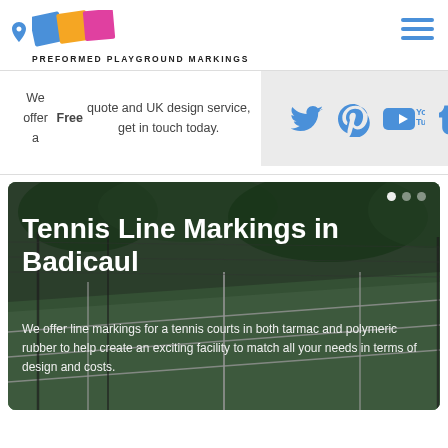[Figure (logo): Preformed Playground Markings logo with colorful diamond shapes and company name text]
We offer a Free quote and UK design service, get in touch today.
[Figure (infographic): Social media icons: Twitter, Pinterest, YouTube, Tumblr in blue on grey background]
[Figure (photo): Tennis court with green surface and white line markings, fenced court viewed from side angle]
Tennis Line Markings in Badicaul
We offer line markings for a tennis courts in both tarmac and polymeric rubber to help create an exciting facility to match all your needs in terms of design and costs.